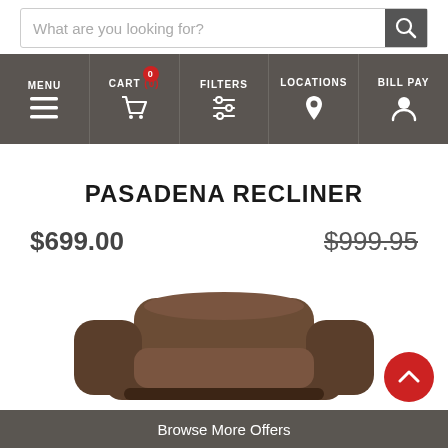What are you looking for?
MENU | CART (0) | FILTERS | LOCATIONS | BILL PAY
PASADENA RECLINER
$699.00    $999.95
[Figure (photo): Brown leather recliner chair viewed from front/top, showing cushioned back and arms]
Browse More Offers